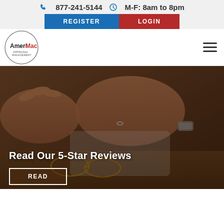877-241-5144  M-F: 8am to 8pm
REGISTER  LOGIN
[Figure (logo): AmeriMac Appraisal Management circular logo with text]
[Figure (photo): Overhead photo of hands working at a desk with glasses, tablet, and documents, overlaid with text 'Read Our 5-Star Reviews' and a READ button]